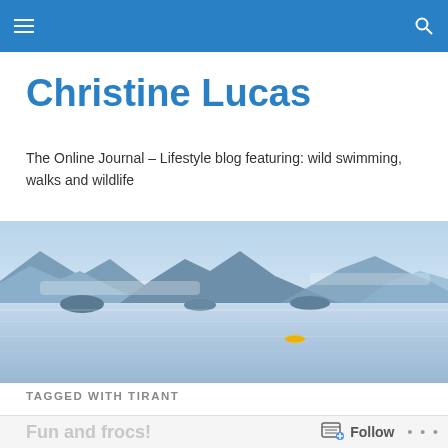Navigation bar with menu and search icons
Christine Lucas
The Online Journal – Lifestyle blog featuring: wild swimming, walks and wildlife
[Figure (photo): Panoramic landscape photo of a calm lake with mountains and mist in the background, and a small yellow kayak on the water]
TAGGED WITH TIRANT
Fun and frocs!